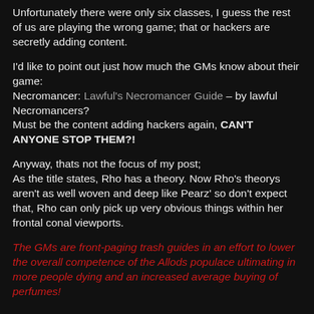Unfortunately there were only six classes, I guess the rest of us are playing the wrong game; that or hackers are secretly adding content.
I'd like to point out just how much the GMs know about their game:
Necromancer: Lawful's Necromancer Guide – by lawful Necromancers?
Must be the content adding hackers again, CAN'T ANYONE STOP THEM?!
Anyway, thats not the focus of my post;
As the title states, Rho has a theory. Now Rho's theorys aren't as well woven and deep like Pearz' so don't expect that, Rho can only pick up very obvious things within her frontal conal viewports.
The GMs are front-paging trash guides in an effort to lower the overall competence of the Allods populace ultimating in more people dying and an increased average buying of perfumes!